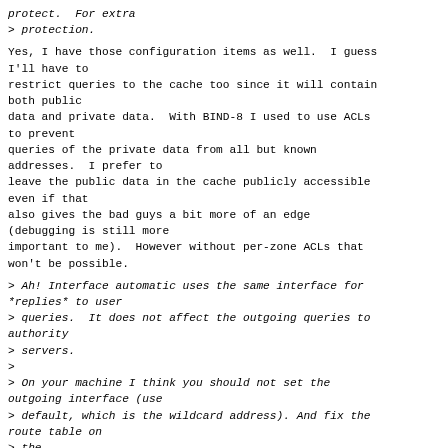protect.  For extra
> protection.
Yes, I have those configuration items as well.  I guess I'll have to
restrict queries to the cache too since it will contain both public
data and private data.  With BIND-8 I used to use ACLs to prevent
queries of the private data from all but known addresses.  I prefer to
leave the public data in the cache publicly accessible even if that
also gives the bad guys a bit more of an edge (debugging is still more
important to me).  However without per-zone ACLs that won't be possible.
> Ah! Interface automatic uses the same interface for *replies* to user
> queries.  It does not affect the outgoing queries to authority
> servers.
>
> On your machine I think you should not set the outgoing interface (use
> default, which is the wildcard address). And fix the route table on
> the
> machine to use the correct interface for the correct